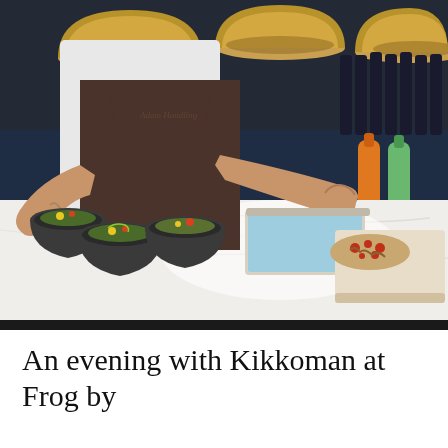[Figure (photo): A chef in a dark brown apron working at a marble kitchen counter, plating dishes in dark bowls. Golden dome pendant lights hang in the background. Various condiment bottles and kitchen equipment are visible on the counter.]
An evening with Kikkoman at Frog by Adam Handling